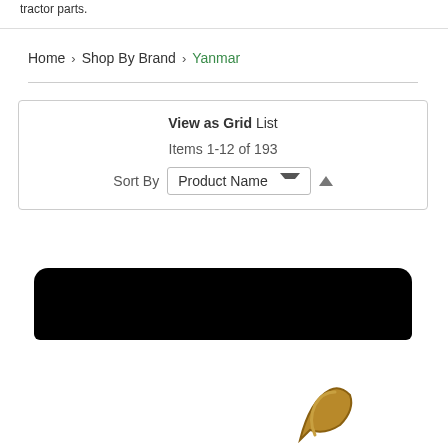tractor parts.
Home > Shop By Brand > Yanmar
View as Grid List
Items 1-12 of 193
Sort By  Product Name
[Figure (photo): Black rounded rectangle product image banner, with partial view of a golden/brown metallic tractor part at bottom right]